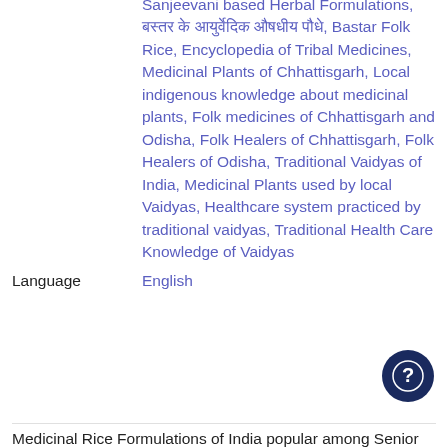Sanjeevani based Herbal Formulations, बस्तर के आयुर्वेदिक औषधीय पौधे, Bastar Folk Rice, Encyclopedia of Tribal Medicines, Medicinal Plants of Chhattisgarh, Local indigenous knowledge about medicinal plants, Folk medicines of Chhattisgarh and Odisha, Folk Healers of Chhattisgarh, Folk Healers of Odisha, Traditional Vaidyas of India, Medicinal Plants used by local Vaidyas, Healthcare system practiced by traditional vaidyas, Traditional Health Care Knowledge of Vaidyas
Language	English
Medicinal Rice Formulations of India popular among Senior